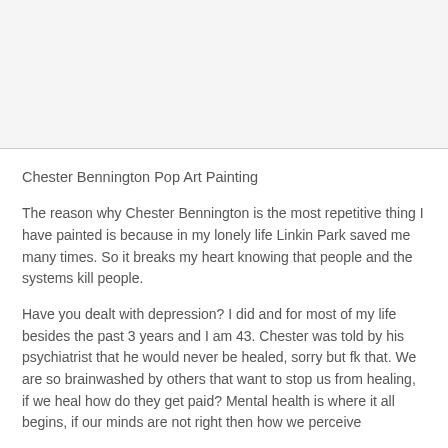[Figure (photo): Top portion of page showing an image area (partially visible, appears to be a painting or artwork)]
Chester Bennington Pop Art Painting
The reason why Chester Bennington is the most repetitive thing I have painted is because in my lonely life Linkin Park saved me many times. So it breaks my heart knowing that people and the systems kill people.
Have you dealt with depression? I did and for most of my life besides the past 3 years and I am 43. Chester was told by his psychiatrist that he would never be healed, sorry but fk that. We are so brainwashed by others that want to stop us from healing, if we heal how do they get paid? Mental health is where it all begins, if our minds are not right then how we perceive